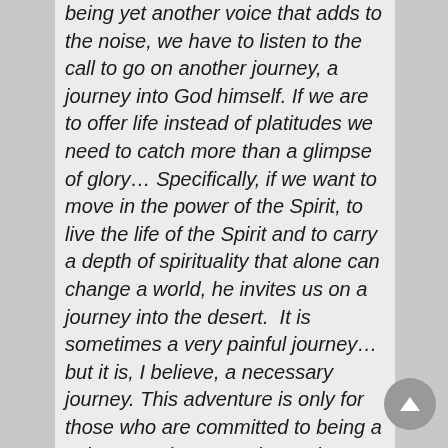being yet another voice that adds to the noise, we have to listen to the call to go on another journey, a journey into God himself. If we are to offer life instead of platitudes we need to catch more than a glimpse of glory… Specifically, if we want to move in the power of the Spirit, to live the life of the Spirit and to carry a depth of spirituality that alone can change a world, he invites us on a journey into the desert. It is sometimes a very painful journey… but it is, I believe, a necessary journey. This adventure is only for those who are committed to being a voice to and not merely another echo of society… It is only for those who are sick of superficiality both in themselves and in the church. (Pages